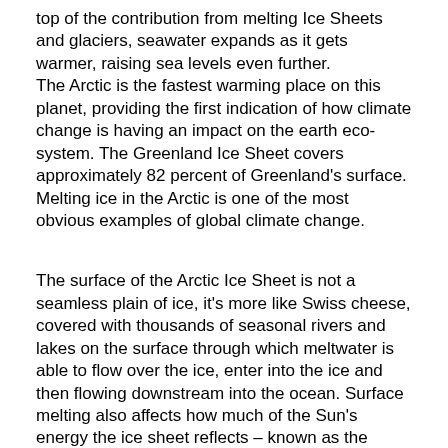top of the contribution from melting Ice Sheets and glaciers, seawater expands as it gets warmer, raising sea levels even further.
The Arctic is the fastest warming place on this planet, providing the first indication of how climate change is having an impact on the earth eco-system. The Greenland Ice Sheet covers approximately 82 percent of Greenland's surface. Melting ice in the Arctic is one of the most obvious examples of global climate change.
The surface of the Arctic Ice Sheet is not a seamless plain of ice, it's more like Swiss cheese, covered with thousands of seasonal rivers and lakes on the surface through which meltwater is able to flow over the ice, enter into the ice and then flowing downstream into the ocean. Surface melting also affects how much of the Sun's energy the ice sheet reflects – known as the albedo effect: The bright white surface reflects most of the suns energy. Whereby melting ice uncovers darker land, water or ocean underneath, which then absorbs more sunlight, causing